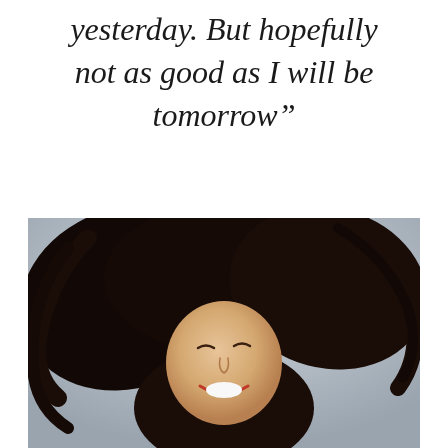yesterday. But hopefully not as good as I will be tomorrow”
[Figure (photo): A joyful woman with dark hair blowing in the wind, eyes closed, smiling broadly, photographed from below against a grey sky background.]